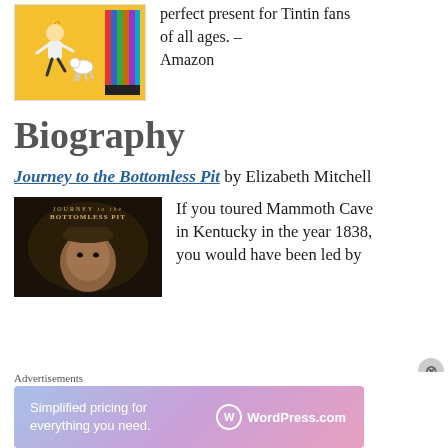[Figure (illustration): Tintin book collection box set with orange cover and colorful book spines]
perfect present for Tintin fans of all ages. – Amazon
Biography
Journey to the Bottomless Pit by Elizabeth Mitchell
[Figure (photo): Book cover of Journey to the Bottomless Pit showing a dark atmospheric cave scene with a man's face]
If you toured Mammoth Cave in Kentucky in the year 1838, you would have been led by
Advertisements
[Figure (screenshot): WordPress.com advertisement banner: Simplified pricing for everything you need.]